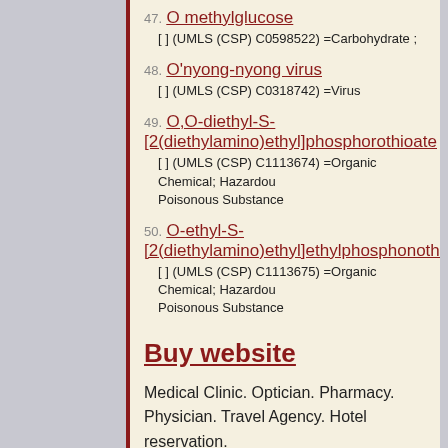47. O methylglucose
[ ] (UMLS (CSP) C0598522) =Carbohydrate ;
48. O'nyong-nyong virus
[ ] (UMLS (CSP) C0318742) =Virus
49. O,O-diethyl-S-[2(diethylamino)ethyl]phosphorothioate
[ ] (UMLS (CSP) C1113674) =Organic Chemical; Hazardous or Poisonous Substance
50. O-ethyl-S-[2(diethylamino)ethyl]ethylphosphonothioate
[ ] (UMLS (CSP) C1113675) =Organic Chemical; Hazardous or Poisonous Substance
Buy website
Medical Clinic. Optician. Pharmacy. Physician. Travel Agency. Hotel reservation. Child Care. Education. Teachers. Lessons. Tests and Exams. Certification. Shopping Center. Store. Real Estate. Affordable prices from $100.